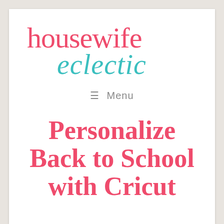[Figure (logo): Housewife Eclectic blog logo with 'housewife' in pink/red serif font and 'eclectic' in teal italic cursive font]
≡ Menu
Personalize Back to School with Cricut